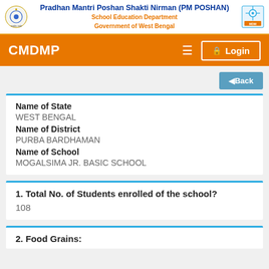Pradhan Mantri Poshan Shakti Nirman (PM POSHAN)
School Education Department
Government of West Bengal
CMDMP
Login
Back
Name of State
WEST BENGAL
Name of District
PURBA BARDHAMAN
Name of School
MOGALSIMA JR. BASIC SCHOOL
1. Total No. of Students enrolled of the school?
108
2. Food Grains: